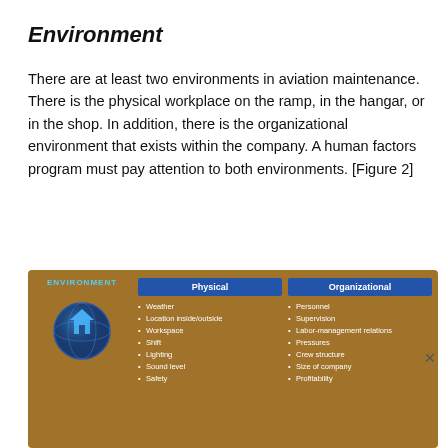Environment
There are at least two environments in aviation maintenance. There is the physical workplace on the ramp, in the hangar, or in the shop. In addition, there is the organizational environment that exists within the company. A human factors program must pay attention to both environments. [Figure 2]
[Figure (infographic): An infographic titled ENVIRONMENT showing two columns: Physical (Weather, Location inside/outside, Workspace, Shift, Lighting, Sound level, Safety) and Organizational (Personnel, Supervision, Labor-management relations, Pressures, Crew structure, Size of company, Profitability). A globe with a house icon appears on the left.]